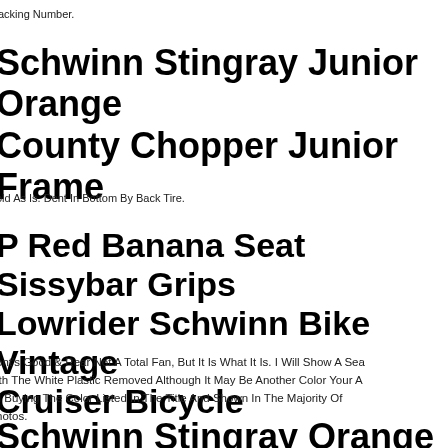acking Number.
Schwinn Stingray Junior Orange County Chopper Junior Frame
old As Is. Dent In Bottom By Back Tire.
P Red Banana Seat Sissybar Grips Lowrider Schwinn Bike Vintage Cruiser Bicycle
ont's Good & Rear Not A Total Fan, But It Is What It Is. I Will Show A Sea ith The White Plastic Removed Although It May Be Another Color Your A ll Buying The Color Listed In The Title And Shown In The Majority Of hotos.
Schwinn Stingray Orange County